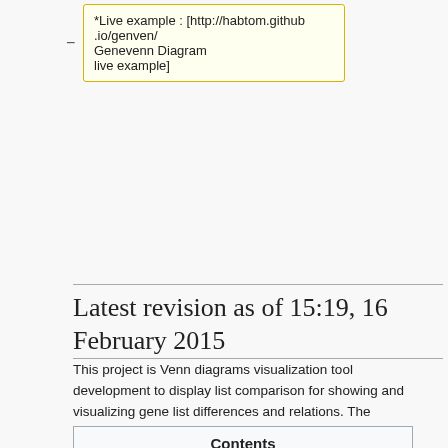*Live example : [http://habtom.github.io/genven/ Genevenn Diagram live example]
Latest revision as of 15:19, 16 February 2015
This project is Venn diagrams visualization tool development to display list comparison for showing and visualizing gene list differences and relations. The development plans to use a JavaScript library d3js and other important tools/frameworks. It also takes into consideration various other open source Venn diagram projects as code base or experience assessments. One of this projects recommended by our mentors is the jvenn project.
| Contents |
| --- |
| 1  Features and Mockups |